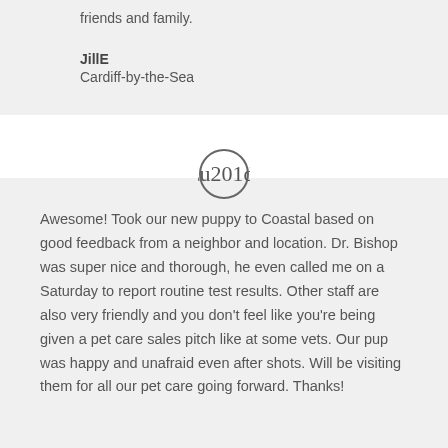friends and family.
JillE
Cardiff-by-the-Sea
[Figure (illustration): Circular quote icon with closing double quotation marks]
Awesome! Took our new puppy to Coastal based on good feedback from a neighbor and location. Dr. Bishop was super nice and thorough, he even called me on a Saturday to report routine test results. Other staff are also very friendly and you don't feel like you're being given a pet care sales pitch like at some vets. Our pup was happy and unafraid even after shots. Will be visiting them for all our pet care going forward. Thanks!